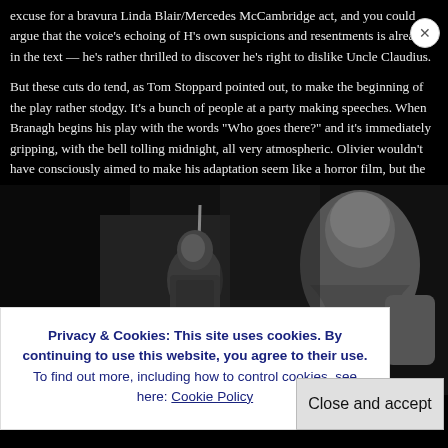excuse for a bravura Linda Blair/Mercedes McCambridge act, and you could argue that the voice's echoing of H's own suspicions and resentments is already in the text — he's rather thrilled to discover he's right to dislike Uncle Claudius.

But these cuts do tend, as Tom Stoppard pointed out, to make the beginning of the play rather stodgy. It's a bunch of people at a party making speeches. When Branagh begins his play with the words "Who goes there?" and it's immediately gripping, with the bell tolling midnight, all very atmospheric. Olivier wouldn't have consciously aimed to make his adaptation seem like a horror film, but the KANE influence ensures it does anyway (I believe Welles may have admitted to a slight James Whale influence on his MACBETH).
[Figure (photo): Black and white film still showing two figures in medieval/theatrical costumes, one holding a spear/pole, in a dark dramatic setting]
Privacy & Cookies: This site uses cookies. By continuing to use this website, you agree to their use.
To find out more, including how to control cookies, see here: Cookie Policy
Close and accept